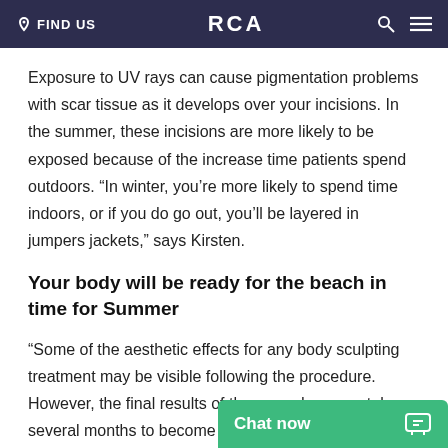FIND US   RCA
Exposure to UV rays can cause pigmentation problems with scar tissue as it develops over your incisions. In the summer, these incisions are more likely to be exposed because of the increase time patients spend outdoors. “In winter, you’re more likely to spend time indoors, or if you do go out, you’ll be layered in jumpers jackets,” says Kirsten.
Your body will be ready for the beach in time for Summer
“Some of the aesthetic effects for any body sculpting treatment may be visible following the procedure. However, the final results of the procedure may take several months to become fully apparent…